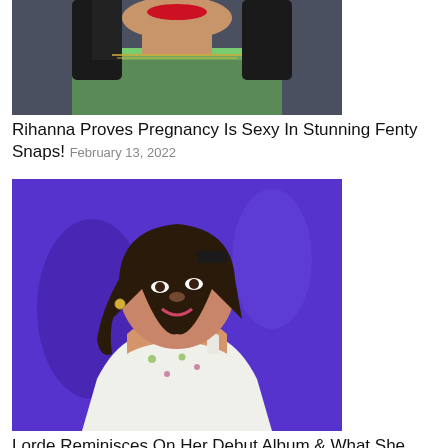[Figure (photo): Close-up photo of Rihanna wearing a green beaded top with red lipstick, dark hair, against a dark background]
Rihanna Proves Pregnancy Is Sexy In Stunning Fenty Snaps! February 13, 2022
[Figure (photo): Photo of Lorde smiling and looking upward, wearing a white floral dress, against a purple/blue background]
Lorde Reminisces On Her Debut Album & What She Now Thinks About It August 25, 2021